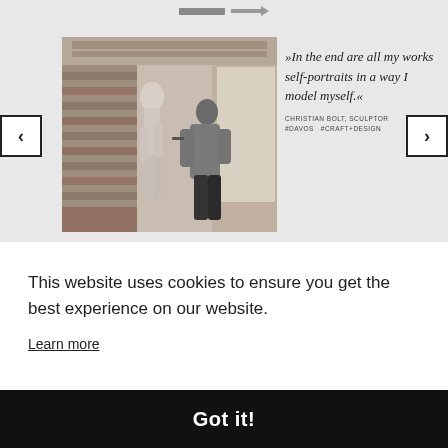[Figure (screenshot): Navigation bar icons at top of page — two small rectangular icon shapes]
[Figure (photo): Slideshow with a sculptor (Christian Bolt) working on a statue in a log cabin studio. Navigation prev/next arrows on sides. Quote text on the right: »In the end are all my works self-portraits in a way I model myself.« attributed to CHRISTIAN BOLT, SCULPTOR #DAVOS #CRAFT+DESIGN]
This website uses cookies to ensure you get the best experience on our website.
Learn more
Got it!